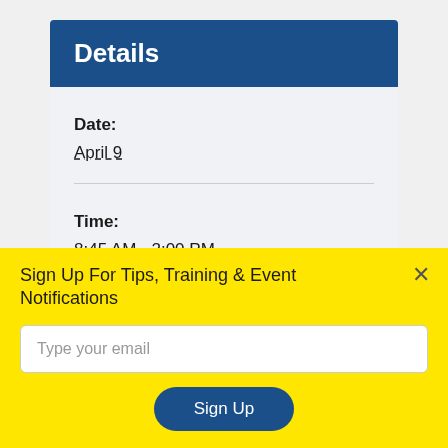Details
Date:
April 9
Time:
8:45 AM - 2:00 PM
Cost:
Sign Up For Tips, Training & Event Notifications
Type your email
Sign Up